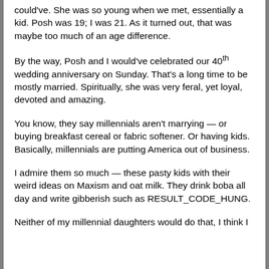could've. She was so young when we met, essentially a kid. Posh was 19; I was 21. As it turned out, that was maybe too much of an age difference.
By the way, Posh and I would've celebrated our 40th wedding anniversary on Sunday. That's a long time to be mostly married. Spiritually, she was very feral, yet loyal, devoted and amazing.
You know, they say millennials aren't marrying — or buying breakfast cereal or fabric softener. Or having kids. Basically, millennials are putting America out of business.
I admire them so much — these pasty kids with their weird ideas on Maxism and oat milk. They drink boba all day and write gibberish such as RESULT_CODE_HUNG.
Neither of my millennial daughters would do that, I think I